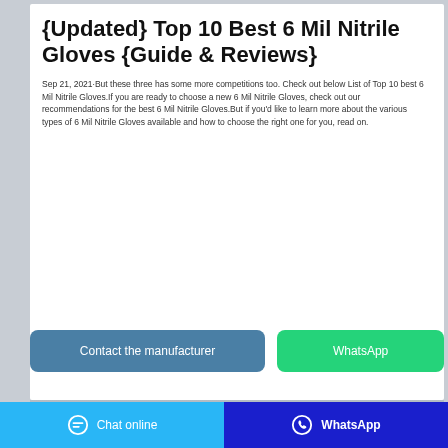{Updated} Top 10 Best 6 Mil Nitrile Gloves {Guide & Reviews}
Sep 21, 2021·But these three has some more competitions too. Check out below List of Top 10 best 6 Mil Nitrile Gloves.If you are ready to choose a new 6 Mil Nitrile Gloves, check out our recommendations for the best 6 Mil Nitrile Gloves.But if you'd like to learn more about the various types of 6 Mil Nitrile Gloves available and how to choose the right one for you, read on.
[Figure (other): Two action buttons: 'Contact the manufacturer' (blue) and 'WhatsApp' (green)]
[Figure (photo): Partial product image showing nitrile gloves, gray/silver background]
Chat online   WhatsApp